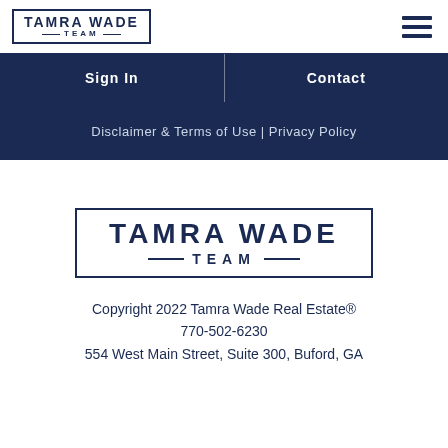[Figure (logo): Tamra Wade Team logo in top-left header with hamburger menu icon on the right]
Sign In | Contact
Disclaimer & Terms of Use | Privacy Policy
[Figure (logo): Tamra Wade Team large logo centered on white background]
Copyright 2022 Tamra Wade Real Estate® 770-502-6230 554 West Main Street, Suite 300, Buford, GA